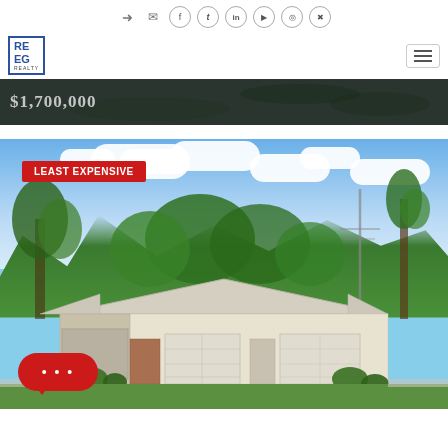REEG Realty — navigation bar with social icons and logo
[Figure (photo): Dark background image strip showing price $1,700,000]
[Figure (photo): Exterior photo of a single-story ranch home with 'LEAST EXPENSIVE' red badge overlay, blue sky, green trees, and a red chat button in bottom-left corner]